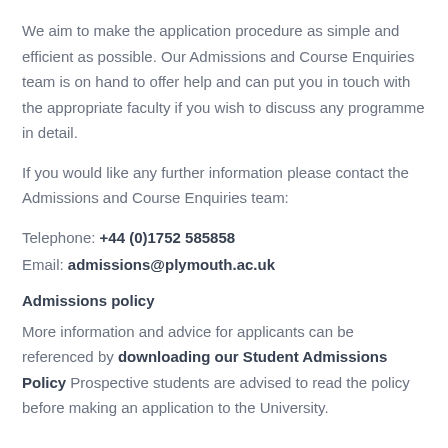We aim to make the application procedure as simple and efficient as possible. Our Admissions and Course Enquiries team is on hand to offer help and can put you in touch with the appropriate faculty if you wish to discuss any programme in detail.
If you would like any further information please contact the Admissions and Course Enquiries team:
Telephone: +44 (0)1752 585858
Email: admissions@plymouth.ac.uk
Admissions policy
More information and advice for applicants can be referenced by downloading our Student Admissions Policy Prospective students are advised to read the policy before making an application to the University.